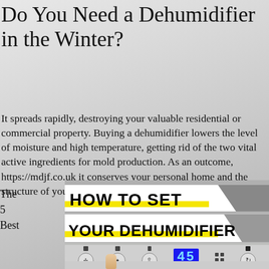Do You Need a Dehumidifier in the Winter?
It spreads rapidly, destroying your valuable residential or commercial property. Buying a dehumidifier lowers the level of moisture and high temperature, getting rid of the two vital active ingredients for mold production. As an outcome, https://mdjf.co.uk it conserves your personal home and the structure of your home.
The
5
Best
[Figure (photo): A dehumidifier control panel showing a digital display reading '45', various buttons and icons, with a finger pressing one of the buttons. Text overlays read 'HOW TO SET' and 'YOUR DEHUMIDIFIER' in bold black font with yellow highlight accents.]